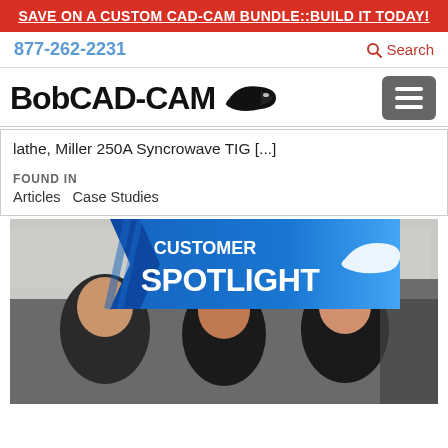SAVE ON A CUSTOM CAD-CAM BUNDLE::BUILD IT TODAY!
877-262-2231   Search
[Figure (logo): BobCAD-CAM logo with stingray icon and hamburger menu button]
lathe, Miller 250A Syncrowave TIG [...]
FOUND IN
Articles   Case Studies
[Figure (photo): Customer Spotlight banner with blue gradient design and BobCAD-CAM stingray logo, overlaid on a photo of three smiling people (two men and a woman) in a workshop setting wearing black shirts]